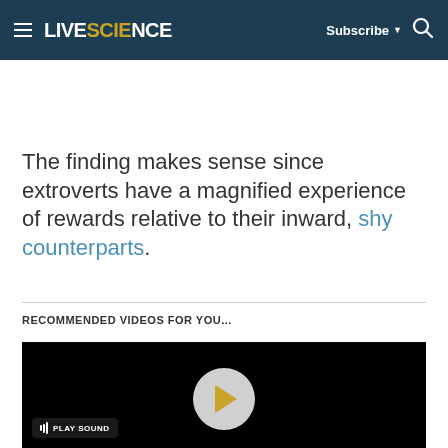LIVESCIENCE  Subscribe  [search]
The finding makes sense since extroverts have a magnified experience of rewards relative to their inward, shy counterparts.
RECOMMENDED VIDEOS FOR YOU...
[Figure (screenshot): Black video player area with a gray circular play button in the center (with a yellow/gold triangle play icon inside), and a sound control button in the bottom-left corner.]